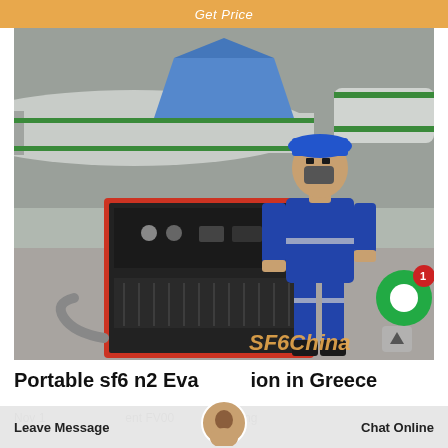Get Price
[Figure (photo): Worker in blue coveralls and hard hat standing next to a red industrial SF6 gas equipment unit outdoors at an industrial facility with large pipes. Blue tarp tent visible. SF6China watermark in bottom right.]
Portable sf6 n2 Evacuation in Greece
Nov 1… equipment FV00… gas filling…
Leave Message  Chat Online